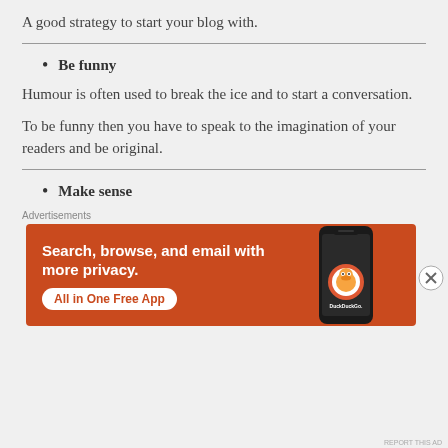A good strategy to start your blog with.
Be funny
Humour is often used to break the ice and to start a conversation.
To be funny then you have to speak to the imagination of your readers and be original.
Make sense
[Figure (screenshot): DuckDuckGo advertisement banner with orange background showing 'Search, browse, and email with more privacy. All in One Free App' with a phone image and DuckDuckGo logo.]